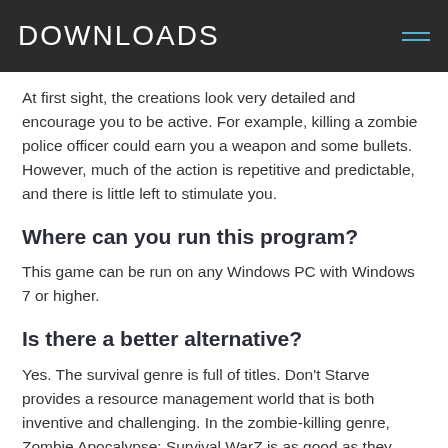DOWNLOADS
At first sight, the creations look very detailed and encourage you to be active. For example, killing a zombie police officer could earn you a weapon and some bullets. However, much of the action is repetitive and predictable, and there is little left to stimulate you.
Where can you run this program?
This game can be run on any Windows PC with Windows 7 or higher.
Is there a better alternative?
Yes. The survival genre is full of titles. Don’t Starve provides a resource management world that is both inventive and challenging. In the zombie-killing genre, Zombie Apocalypse: Survival WarZ is as good as they